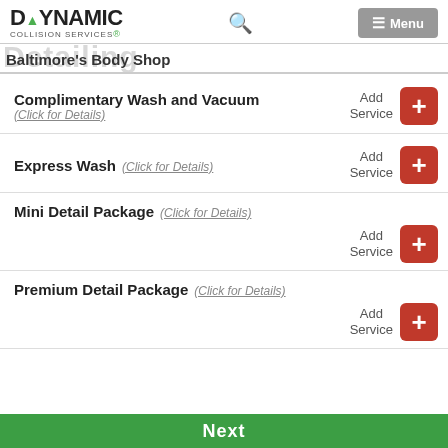Dynamic Collision Services — Baltimore's Body Shop
Complimentary Wash and Vacuum (Click for Details) — Add Service
Express Wash (Click for Details) — Add Service
Mini Detail Package (Click for Details) — Add Service
Premium Detail Package (Click for Details) — Add Service
Next